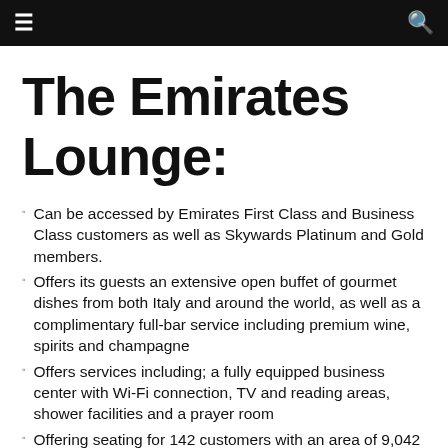☰  🔍
The Emirates Lounge:
Can be accessed by Emirates First Class and Business Class customers as well as Skywards Platinum and Gold members.
Offers its guests an extensive open buffet of gourmet dishes from both Italy and around the world, as well as a complimentary full-bar service including premium wine, spirits and champagne
Offers services including; a fully equipped business center with Wi-Fi connection, TV and reading areas, shower facilities and a prayer room
Offering seating for 142 customers with an area of 9,042 sq ft